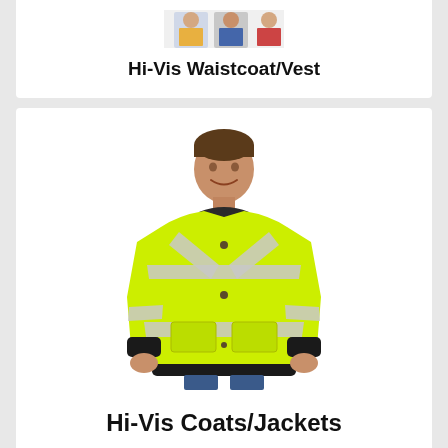[Figure (photo): Partial view of Hi-Vis Waistcoat/Vest product photos at top of page]
Hi-Vis Waistcoat/Vest
[Figure (photo): Man wearing a bright yellow hi-visibility bomber jacket with silver reflective stripes across the chest and lower body, standing against a white background]
Hi-Vis Coats/Jackets
[Figure (photo): Partial thumbnail images visible at the very bottom of the page for the next product category]